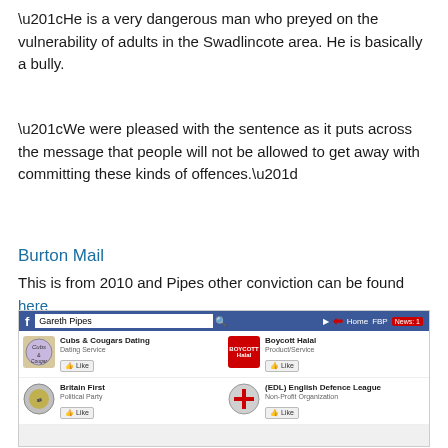“He is a very dangerous man who preyed on the vulnerability of adults in the Swadlincote area. He is basically a bully.
“We were pleased with the sentence as it puts across the message that people will not be allowed to get away with committing these kinds of offences.”
Burton Mail
This is from 2010 and Pipes other conviction can be found here
[Figure (screenshot): Facebook screenshot showing Gareth Pipes profile page with liked pages including Cubs & Cougars Dating, Boycott Halal, Britain First, and (EDL) English Defence League]